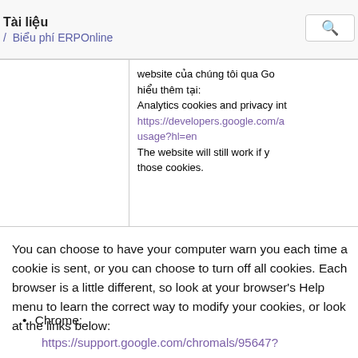Tài liệu / Biểu phí ERPOnline
|  | website của chúng tôi qua Go hiểu thêm tại:
Analytics cookies and privacy int
https://developers.google.com/a usage?hl=en
The website will still work if y those cookies. |
You can choose to have your computer warn you each time a cookie is sent, or you can choose to turn off all cookies. Each browser is a little different, so look at your browser's Help menu to learn the correct way to modify your cookies, or look at the links below:
Chrome:
https://support.google.com/chromals/95647?